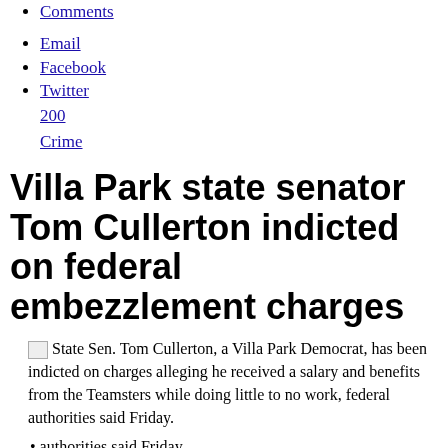Comments
Email
Facebook
Twitter
200
Crime
Villa Park state senator Tom Cullerton indicted on federal embezzlement charges
State Sen. Tom Cullerton, a Villa Park Democrat, has been indicted on charges alleging he received a salary and benefits from the Teamsters while doing little to no work, federal authorities said Friday.
State Sen. Tom Cullerton, a Villa Park Democrat, has been indicted on charges alleging he received a salary and benefits from the Teamsters while doing little to no work, federal authorities said Friday.